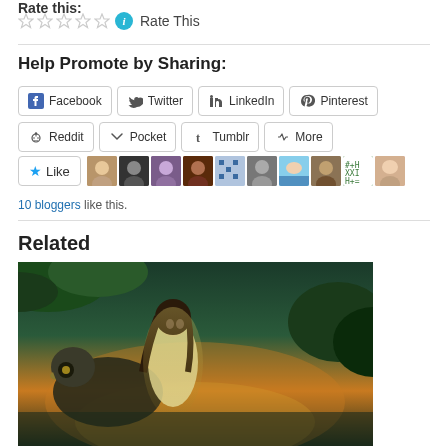Rate this:
[Figure (other): Five empty star rating icons followed by an info icon and 'Rate This' text]
Help Promote by Sharing:
[Figure (infographic): Social sharing buttons: Facebook, Twitter, LinkedIn, Pinterest, Reddit, Pocket, Tumblr, More]
[Figure (infographic): Like button with star icon, followed by 10 blogger avatar thumbnails]
10 bloggers like this.
Related
[Figure (illustration): Digital painting of a woman with flowing hair riding or accompanied by a large bird, set against a dark green and orange sky background]